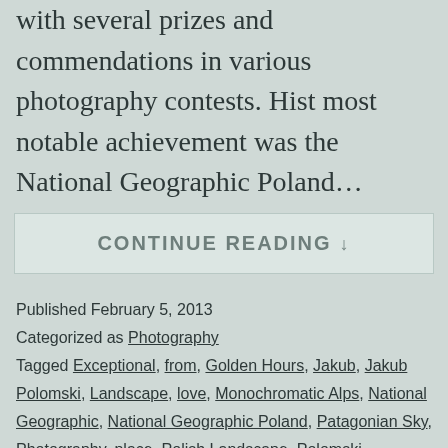with several prizes and commendations in various photography contests. Hist most notable achievement was the National Geographic Poland…
CONTINUE READING ↓
Published February 5, 2013
Categorized as Photography
Tagged Exceptional, from, Golden Hours, Jakub, Jakub Polomski, Landscape, love, Monochromatic Alps, National Geographic, National Geographic Poland, Patagonian Sky, Photography, place, Polish Landscape, Polomski